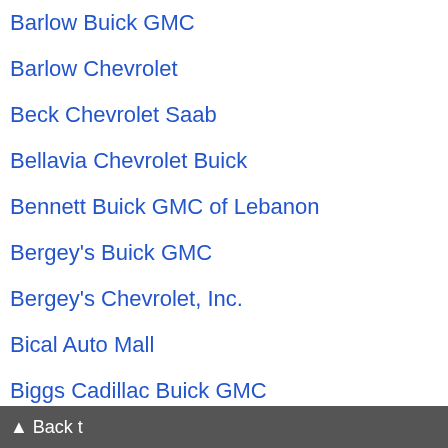Barlow Buick GMC
Barlow Chevrolet
Beck Chevrolet Saab
Bellavia Chevrolet Buick
Bennett Buick GMC of Lebanon
Bergey's Buick GMC
Bergey's Chevrolet, Inc.
Bical Auto Mall
Biggs Cadillac Buick GMC
Bill Hudgins Automotive Inc.
Blaise Alexander Buick GMC
Blaise Alexander Buick GMC of
Blaise Alexander Chevrolet
Research Request
You are invited to take part in a short Cars.com survey.

Upon completion, you'll be entered to win a $50 amazon gift card. Interested?
Click here to participate
▲ Back t